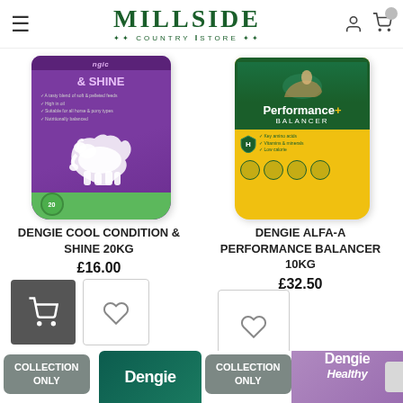Millside Country Store
[Figure (photo): Dengie Cool Condition & Shine 20kg product bag - purple with white horse silhouette and green bottom]
[Figure (photo): Dengie Alfa-A Performance Balancer 10kg product bag - yellow and green]
DENGIE COOL CONDITION & SHINE 20kg
£16.00
DENGIE ALFA-A PERFORMANCE BALANCER 10kg
£32.50
[Figure (photo): Dengie product bag bottom - dark green, partially visible, with COLLECTION ONLY badge]
[Figure (photo): Dengie Healthy Hooves product bag - purple, partially visible, with COLLECTION ONLY badge]